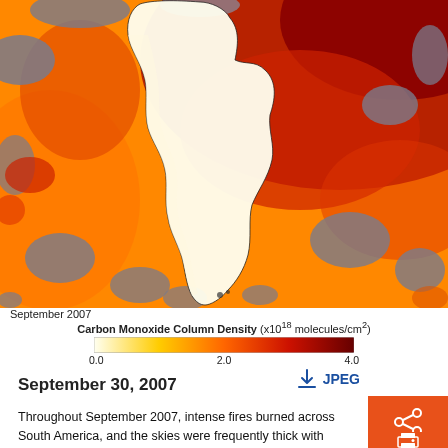[Figure (map): Satellite map of South America showing Carbon Monoxide Column Density in September 2007. Colors range from gray/blue (low) through orange to dark red (high concentration). The continent outline is visible in cream/white against the colored background representing atmospheric CO concentrations.]
September 2007
Carbon Monoxide Column Density (x10^18 molecules/cm^2)
0.0   2.0   4.0
September 30, 2007
Throughout September 2007, intense fires burned across South America, and the skies were frequently thick with smoke. Carbon monoxide is one of several gases released by burning vegetation. Because of its relatively long lifetime in the atmosphere, carbon monoxide is a good tracer of smoke-related pollution.